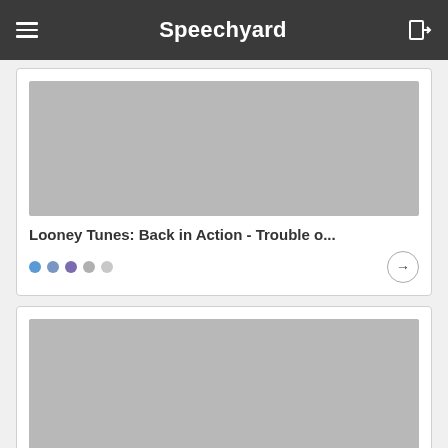Speechyard
[Figure (screenshot): Gray placeholder image for Looney Tunes card]
Looney Tunes: Back in Action - Trouble o...
[Figure (screenshot): Gray placeholder image for Victoria & Abdul card]
Victoria & Abdul - Anything but Insane